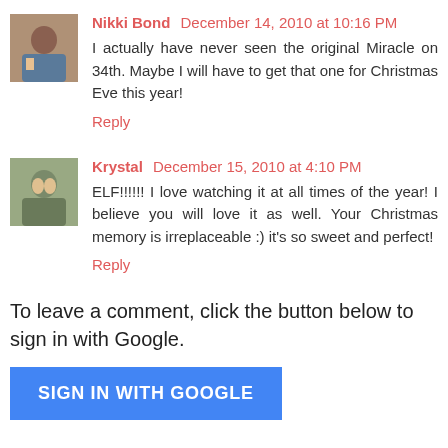Nikki Bond December 14, 2010 at 10:16 PM
I actually have never seen the original Miracle on 34th. Maybe I will have to get that one for Christmas Eve this year!
Reply
Krystal December 15, 2010 at 4:10 PM
ELF!!!!!! I love watching it at all times of the year! I believe you will love it as well. Your Christmas memory is irreplaceable :) it's so sweet and perfect!
Reply
To leave a comment, click the button below to sign in with Google.
SIGN IN WITH GOOGLE
Comments are my favorite.